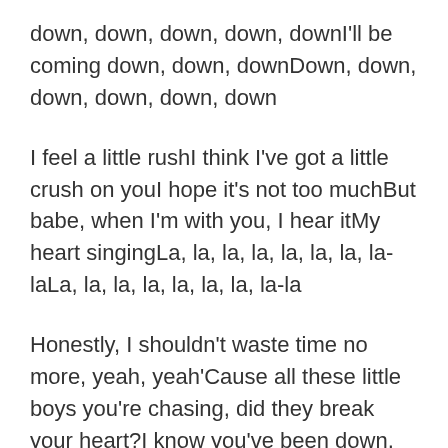down, down, down, down, downI'll be coming down, down, downDown, down, down, down, down, down
I feel a little rushI think I've got a little crush on youI hope it's not too muchBut babe, when I'm with you, I hear itMy heart singingLa, la, la, la, la, la, la, la-laLa, la, la, la, la, la, la, la-la
Honestly, I shouldn't waste time no more, yeah, yeah'Cause all these little boys you're chasing, did they break your heart?I know you've been down, down, downDown, down, down, down, down, downI won't let you down, down, downDown, down, down, down, down,